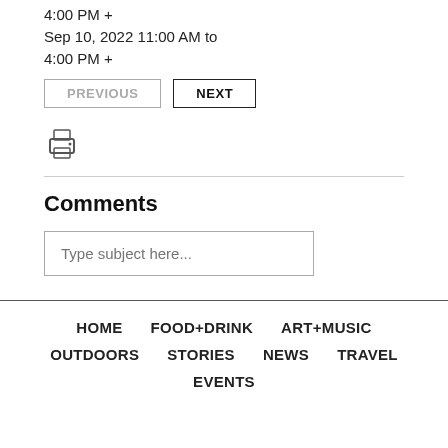4:00 PM +
Sep 10, 2022 11:00 AM to
4:00 PM +
PREVIOUS   NEXT
[Figure (illustration): Printer icon]
Comments
Type subject here...
HOME   FOOD+DRINK   ART+MUSIC   OUTDOORS   STORIES   NEWS   TRAVEL   EVENTS